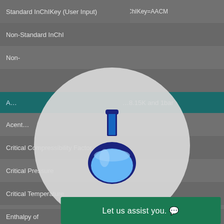| Property | Value |
| --- | --- |
| Standard InChIKey (User Input) | InChIKey=AACM… |
| Non-Standard InChI |  |
| Non- |  |
| A… | …8.15K and 1bar |
| Acent… |  |
| Critical Compressibility Factor |  |
| Critical Pressure |  |
| Critical Temperature |  |
| Critical Volu… |  |
| Enthalpy of… |  |
[Figure (illustration): Circular overlay with a dark blue laboratory flask illustration containing light blue liquid, centered on the page]
Let us assist you.